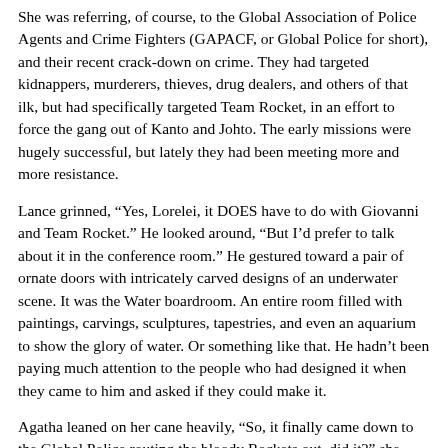She was referring, of course, to the Global Association of Police Agents and Crime Fighters (GAPACF, or Global Police for short), and their recent crack-down on crime. They had targeted kidnappers, murderers, thieves, drug dealers, and others of that ilk, but had specifically targeted Team Rocket, in an effort to force the gang out of Kanto and Johto. The early missions were hugely successful, but lately they had been meeting more and more resistance.
Lance grinned, “Yes, Lorelei, it DOES have to do with Giovanni and Team Rocket.” He looked around, “But I’d prefer to talk about it in the conference room.” He gestured toward a pair of ornate doors with intricately carved designs of an underwater scene. It was the Water boardroom. An entire room filled with paintings, carvings, sculptures, tapestries, and even an aquarium to show the glory of water. Or something like that. He hadn’t been paying much attention to the people who had designed it when they came to him and asked if they could make it.
Agatha leaned on her cane heavily, “So, it finally came down to the Global Police routing the bloody Rockets out, did it?” she coughed, and Lance wasn’t sure if she could stand on her own without that cane anymore. “Why, in my day, they would have rousted up the local trainers; the local gym leaders; we, the Elite Four;” she glanced at Lance, “And the bloody Champion to help take out bloody Team Rocket.”